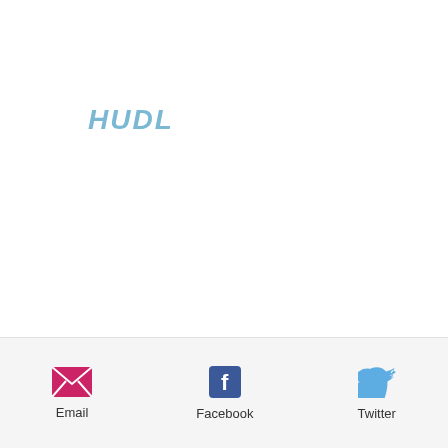[Figure (logo): HUDL logo in italic bold light blue text]
[Figure (infographic): Share bar at bottom with Email (pink envelope icon), Facebook (blue Facebook icon), and Twitter (blue bird icon) sharing options]